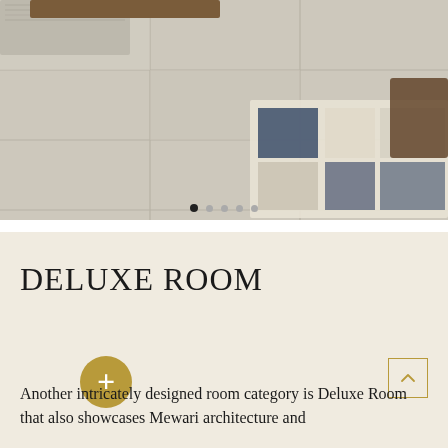[Figure (photo): Interior photo showing large light beige/grey stone floor tiles with grid pattern. In the upper right corner, a geometric patterned rug in blue, grey, and white tones, with the leg of a dark wood furniture piece visible. Upper left shows another neutral rug. Carousel navigation dots visible at the bottom of the image.]
DELUXE ROOM
Another intricately designed room category is Deluxe Room that also showcases Mewari architecture and